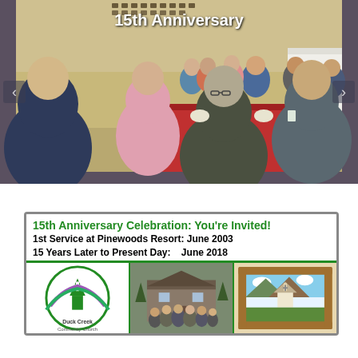[Figure (photo): Photo of people seated at tables with red tablecloths at a banquet/celebration event, with '15th Anniversary' text overlay at the top. Navigation arrows on left and right sides.]
[Figure (infographic): 15th Anniversary Celebration invitation box with green and black text. Title: '15th Anniversary Celebration: You're Invited!' Subtitle: '1st Service at Pinewoods Resort: June 2003 / 15 Years Later to Present Day: June 2018'. Below are three images: Duck Creek logo/seal, a group photo outside a building, and a stained glass window illustration.]